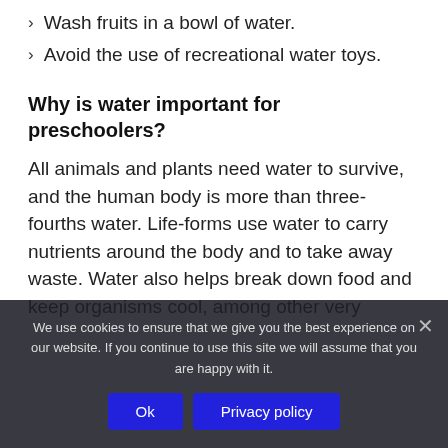Wash fruits in a bowl of water.
Avoid the use of recreational water toys.
Why is water important for preschoolers?
All animals and plants need water to survive, and the human body is more than three-fourths water. Life-forms use water to carry nutrients around the body and to take away waste. Water also helps break down food and keep organisms cool, among other very
We use cookies to ensure that we give you the best experience on our website. If you continue to use this site we will assume that you are happy with it.